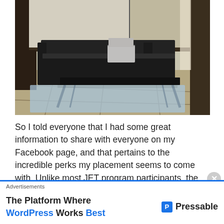[Figure (photo): Interior room photo showing a black leather sofa with a laptop on a low black coffee table, on a blue area rug over tatami flooring, with dark wooden cabinetry in the background.]
So I told everyone that I had some great information to share with everyone on my Facebook page, and that pertains to the incredible perks my placement seems to come with. Unlike most JET program participants, the
Advertisements
The Platform Where WordPress Works Best  Pressable